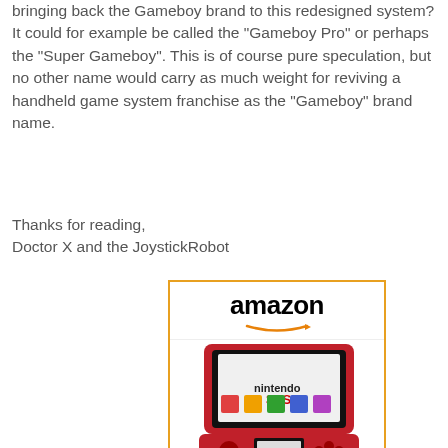bringing back the Gameboy brand to this redesigned system? It could for example be called the "Gameboy Pro" or perhaps the "Super Gameboy". This is of course pure speculation, but no other name would carry as much weight for reviving a handheld game system franchise as the "Gameboy" brand name.
Thanks for reading,
Doctor X and the JoystickRobot
[Figure (other): Amazon product widget showing Nintendo 3DS - Flame Red for $143.89 with Shop now button]